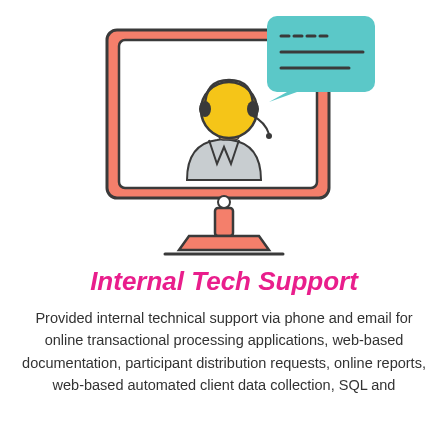[Figure (illustration): Line-art illustration of a computer monitor with an orange/salmon frame. On screen is a customer support agent (headset, yellow head, grey suit). A teal speech/chat bubble with three horizontal lines appears top-right overlapping the monitor. The monitor has a stand and base with matching salmon/orange color.]
Internal Tech Support
Provided internal technical support via phone and email for online transactional processing applications, web-based documentation, participant distribution requests, online reports, web-based automated client data collection, SQL and